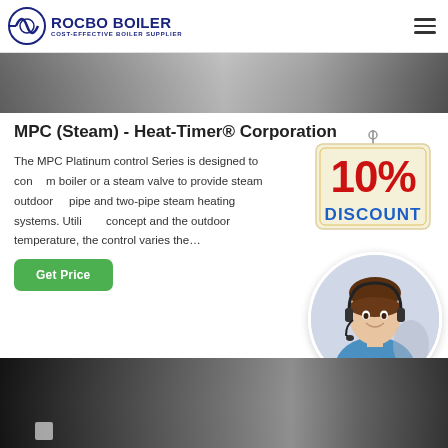ROCBO BOILER - COST-EFFECTIVE BOILER SUPPLIER
[Figure (photo): Top image showing boiler/heating equipment in dark tones]
MPC (Steam) - Heat-Timer® Corporation
The MPC Platinum control Series is designed to control a boiler or a steam valve to provide steam outdoor pipe and two-pipe steam heating systems. Utilizing the concept and the outdoor temperature, the control varies the…
[Figure (illustration): 10% DISCOUNT badge/sign hanging]
[Figure (photo): Customer service agent woman with headset smiling, circular crop]
[Figure (photo): Bottom image showing boiler/industrial equipment in dark setting]